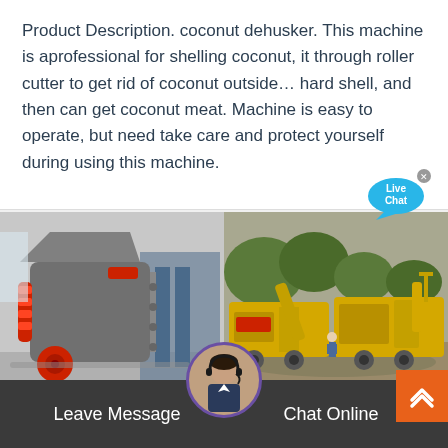Product Description. coconut dehusker. This machine is aprofessional for shelling coconut, it through roller cutter to get rid of coconut outside… hard shell, and then can get coconut meat. Machine is easy to operate, but need take care and protect yourself during using this machine.
[Figure (photo): Two side-by-side photos: left shows a large industrial grey hammer mill machine with red components in a factory; right shows yellow heavy-duty mobile crushing/screening equipment outdoors with trees and a worker visible.]
Leave Message
Chat Online